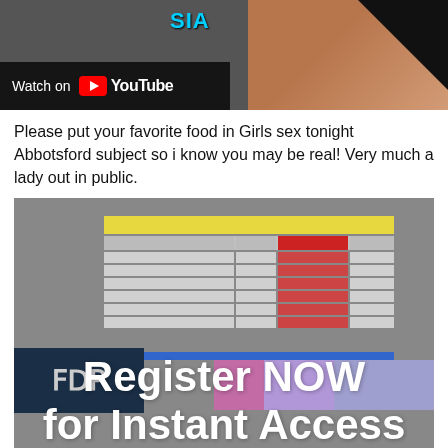[Figure (screenshot): YouTube video thumbnail showing 'Watch on YouTube' overlay with partial text including 'SIA' and background figure]
Please put your favorite food in Girls sex tonight Abbotsford subject so i know you may be real! Very much a lady out in public.
[Figure (screenshot): Screenshot of a PDF document preview with colored tables (yellow header, red columns) and overlay text reading 'Register NOW for Instant Access']